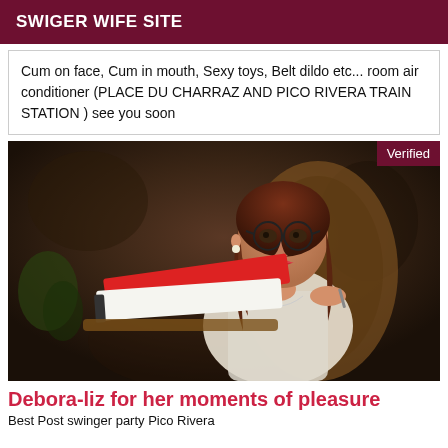SWIGER WIFE SITE
Cum on face, Cum in mouth, Sexy toys, Belt dildo etc... room air conditioner (PLACE DU CHARRAZ AND PICO RIVERA TRAIN STATION ) see you soon
[Figure (photo): Woman with glasses and red lipstick seated in a chair, wearing white lace outfit, holding a pen, with a red book on a table in foreground. Verified badge in top right corner.]
Debora-liz for her moments of pleasure
Best Post swinger party Pico Rivera